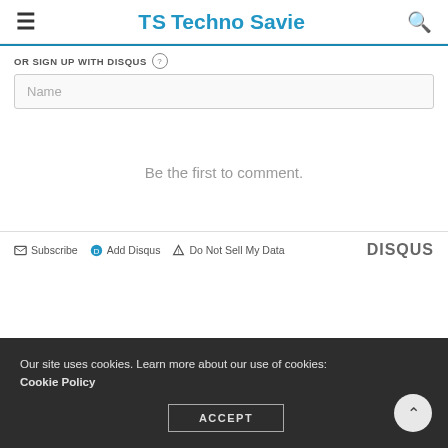TS Techno Savie
OR SIGN UP WITH DISQUS ?
Name
Be the first to comment.
Subscribe  Add Disqus  Do Not Sell My Data  DISQUS
Our site uses cookies. Learn more about our use of cookies: Cookie Policy
ACCEPT